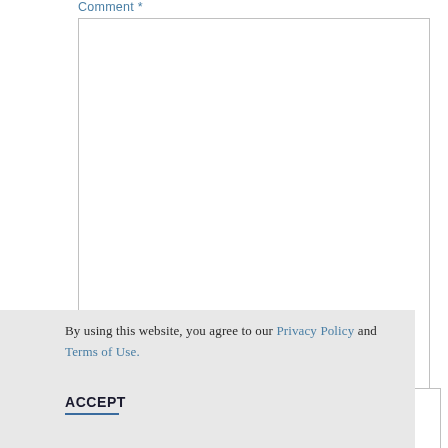Comment *
[Figure (screenshot): Large empty comment text area input field with resize handle]
By using this website, you agree to our Privacy Policy and Terms of Use.
ACCEPT
Email *
[Figure (screenshot): Email input field box]